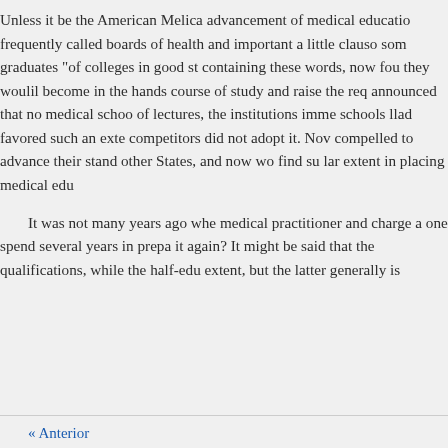Unless it be the American Melica advancement of medical education frequently called boards of health and important a little clauso som graduates "of colleges in good st containing these words, now fou they woulil become in the hands course of study and raise the req announced that no medical schoo of lectures, the institutions imme schools llad favored such an exte competitors did not adopt it. Nov compelled to advance their stand other States, and now wo find su lar extent in placing medical edu
It was not many years ago whe medical practitioner and charge a one spend several years in prepa it again? It might be said that the qualifications, while the half-edu extent, but the latter generally is
« Anterior